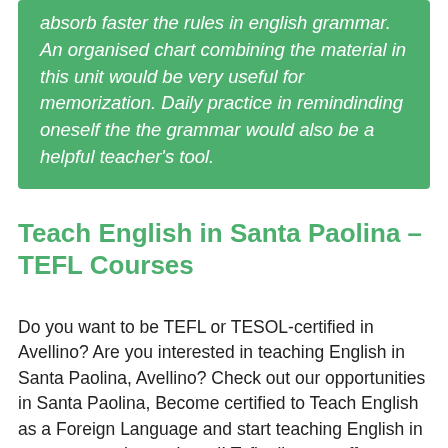absorb faster the rules in english grammar. An organised chart combining the material in this unit would be very useful for memorization. Daily practice in remindinding oneself the the grammar would also be a helpful teacher's tool.
Teach English in Santa Paolina – TEFL Courses
Do you want to be TEFL or TESOL-certified in Avellino? Are you interested in teaching English in Santa Paolina, Avellino? Check out our opportunities in Santa Paolina, Become certified to Teach English as a Foreign Language and start teaching English in your community or abroad! Teflonline.net offers a wide variety of Online TEFL Courses and a great